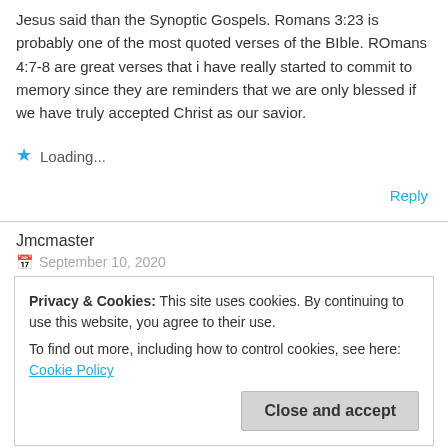Jesus said than the Synoptic Gospels. Romans 3:23 is probably one of the most quoted verses of the BIble. ROmans 4:7-8 are great verses that i have really started to commit to memory since they are reminders that we are only blessed if we have truly accepted Christ as our savior.
★ Loading...
Reply
Jmcmaster
September 10, 2020
Privacy & Cookies: This site uses cookies. By continuing to use this website, you agree to their use.
To find out more, including how to control cookies, see here: Cookie Policy
Close and accept
had a very important impact on my walk as a Christian. Romans 10:9-10 played a huge part in my salvation story. The verse says, “if you confess with your mouth that Jesus is Lord and believe in your heart that God raised him from the dead, you will be saved.”